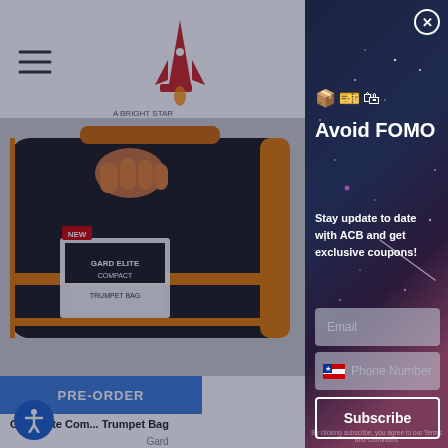[Figure (screenshot): Background website showing a music store product page with header, product image of a trumpet bag, pre-order button, product name 'Gard Elite Com... Trumpet Bag' and price '$275.00 - $']
[Figure (screenshot): Modal popup overlay on dark starry background with emoji icons, title 'Avoid FOMO', subtitle 'Stay update to date with ACB and get exclusive coupons!', email field, phone number field with US flag, Subscribe button, and footer text]
Avoid FOMO
Stay update to date with ACB and get exclusive coupons!
Email
Phone Number
Subscribe